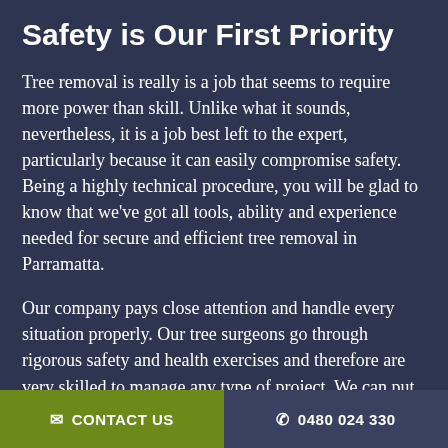Safety is Our First Priority
Tree removal is really is a job that seems to require more power than skill. Unlike what it sounds, nevertheless, it is a job best left to the expert, particularly because it can easily compromise safety. Being a highly technical procedure, you will be glad to know that we've got all tools, ability and experience needed for secure and efficient tree removal in Parramatta.
Our company pays close attention and handle every situation properly. Our tree surgeons go through rigorous safety and health exercises and therefore are very skilled to manage any type of project. We can put them in the area with certainty that they may take each of the
✉ CONTACT US   ☎ 0480 024 330